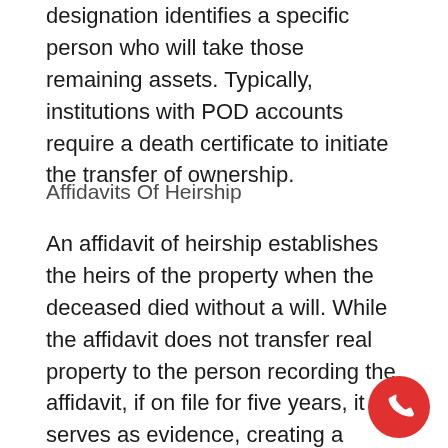designation identifies a specific person who will take those remaining assets. Typically, institutions with POD accounts require a death certificate to initiate the transfer of ownership.
Affidavits Of Heirship
An affidavit of heirship establishes the heirs of the property when the deceased died without a will. While the affidavit does not transfer real property to the person recording the affidavit, if on file for five years, it serves as evidence, creating a “chain of title” transfer from the decedent to their heir(s).